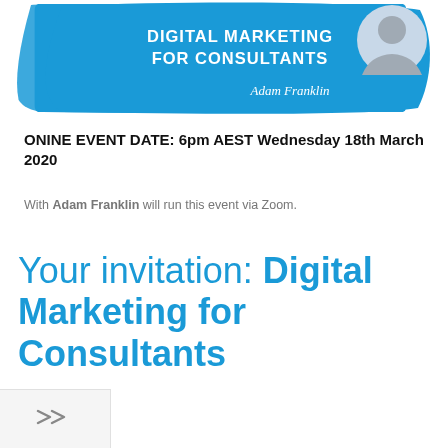[Figure (infographic): Banner with blue brush-stroke background showing 'DIGITAL MARKETING FOR CONSULTANTS' in white text on blue, with a photo of Adam Franklin and his signature in white cursive.]
ONINE EVENT DATE: 6pm AEST Wednesday 18th March 2020
With Adam Franklin will run this event via Zoom.
Your invitation: Digital Marketing for Consultants
[Figure (other): Share/forward icon (double arrow chevron pointing right) in a light grey box at the bottom left corner.]